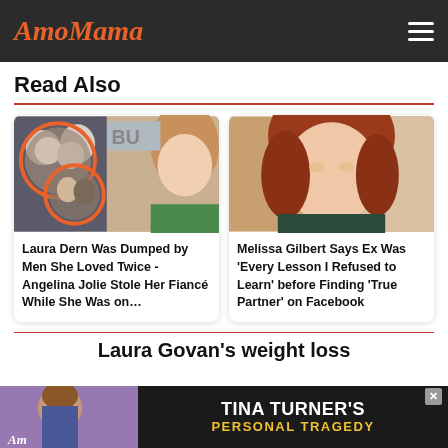AmoMama
Read Also
[Figure (photo): Collage of Laura Dern with two circular inset photos of couples]
Laura Dern Was Dumped by Men She Loved Twice - Angelina Jolie Stole Her Fiancé While She Was on…
[Figure (photo): Portrait of Melissa Gilbert with red hair looking upward]
Melissa Gilbert Says Ex Was 'Every Lesson I Refused to Learn' before Finding 'True Partner' on Facebook
Laura Govan's weight loss
[Figure (photo): Ad banner: Tina Turner's Personal Tragedy with woman photo on left and AmoMama logo]